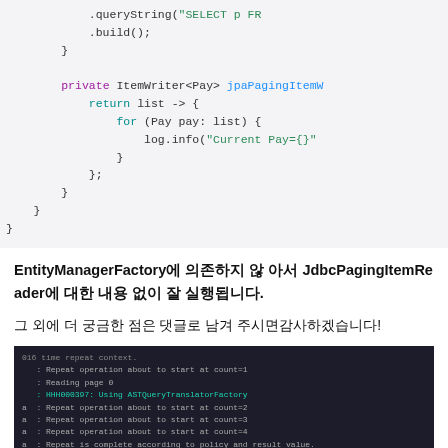[Figure (screenshot): Code snippet showing Java Spring Batch code with ItemWriter using JPA paging, including a for loop logging current Pay objects]
EntityManagerFactory에 의존하지 않 아서 JdbcPagingItemReader에 대한 내용 없이 잘 실행됩니다.
그 외에 더 궁금한 점은 댓글로 남겨 주시면감사하겠습니다!
[Figure (screenshot): Terminal output showing Spring Batch repeat context output including HHH000397 AST message and Current Pay log entries with id, amount, txName, txDateTime fields]